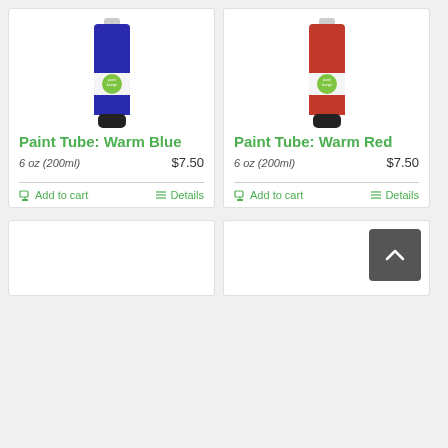[Figure (photo): Blue paint tube with 'paint lounge' logo, squeezable tube with black cap]
Paint Tube: Warm Blue
6 oz (200ml)   $7.50
Add to cart   Details
[Figure (photo): Red paint tube with 'paint lounge' logo, squeezable tube with black cap]
Paint Tube: Warm Red
6 oz (200ml)   $7.50
Add to cart   Details